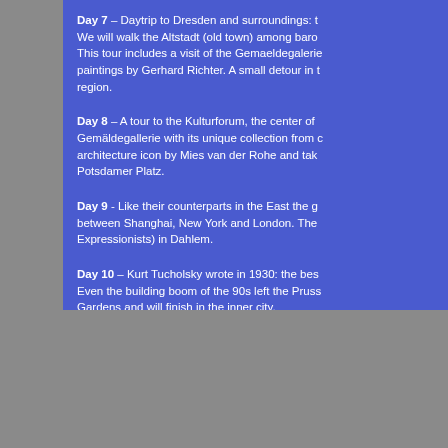Day 7 – Daytrip to Dresden and surroundings: We will walk the Altstadt (old town) among baroque monuments. This tour includes a visit of the Gemaeldegalerie with paintings by Gerhard Richter. A small detour in the region.
Day 8 – A tour to the Kulturforum, the center of Gemäldegallerie with its unique collection from architecture icon by Mies van der Rohe and take Potsdamer Platz.
Day 9 - Like their counterparts in the East the g between Shanghai, New York and London. The Expressionists) in Dahlem.
Day 10 – Kurt Tucholsky wrote in 1930: the best Even the building boom of the 90s left the Pruss Gardens and will finish in the inner city.
Day 11 – time to say Aufwiedersehen Berlin, or